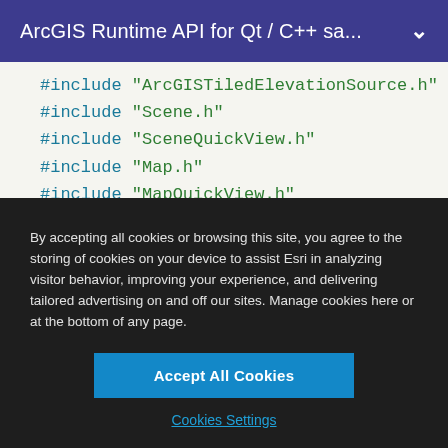ArcGIS Runtime API for Qt / C++ sa...
[Figure (screenshot): Code snippet showing C++ #include statements for ArcGIS headers including ArcGISTiledElevationSource.h, Scene.h, SceneQuickView.h, Map.h, and MapQuickView.h]
By accepting all cookies or browsing this site, you agree to the storing of cookies on your device to assist Esri in analyzing visitor behavior, improving your experience, and delivering tailored advertising on and off our sites. Manage cookies here or at the bottom of any page.
Accept All Cookies
Cookies Settings